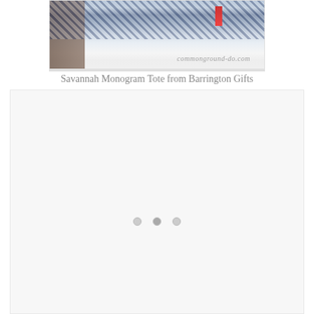[Figure (photo): Photo of a Savannah Monogram Tote bag from Barrington Gifts, showing a navy blue patterned fabric tote with a red accent stripe, on a white surface. Watermark text 'commonground-do.com' visible in the lower right of the image.]
Savannah Monogram Tote from Barrington Gifts
[Figure (photo): A large light gray/white placeholder or loading content area with three small circular dot indicators (pagination dots) near the center-bottom of the box, suggesting an image carousel or slideshow widget.]